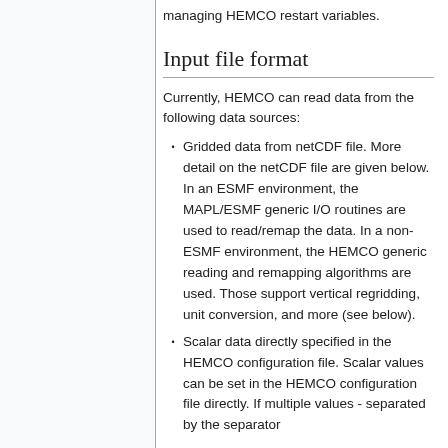managing HEMCO restart variables.
Input file format
Currently, HEMCO can read data from the following data sources:
Gridded data from netCDF file. More detail on the netCDF file are given below. In an ESMF environment, the MAPL/ESMF generic I/O routines are used to read/remap the data. In a non-ESMF environment, the HEMCO generic reading and remapping algorithms are used. Those support vertical regridding, unit conversion, and more (see below).
Scalar data directly specified in the HEMCO configuration file. Scalar values can be set in the HEMCO configuration file directly. If multiple values - separated by the separator